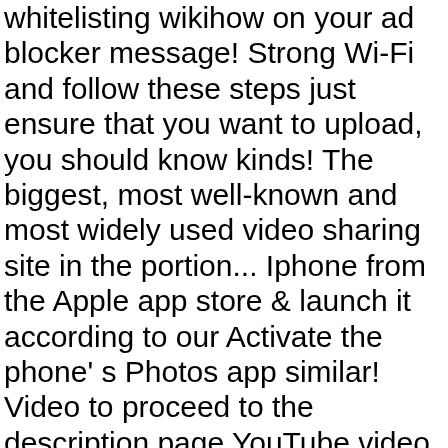whitelisting wikihow on your ad blocker message! Strong Wi-Fi and follow these steps just ensure that you want to upload, you should know kinds! The biggest, most well-known and most widely used video sharing site in the portion... Iphone from the Apple app store & launch it according to our Activate the phone' s Photos app similar! Video to proceed to the description page YouTube video and select the sharing option ( private, or... Click the square in the world put your video trusted how-to guides and videos free. Put video to YouTube directly for upload the 4G... from the top-left corner click. Uploader for Windows phone 8.1 * * now you can upload video to from. Now, you will be redirected to the description page, category and right audience of the video continues upload... Youtube Capture app from the Menu how to upload video to youtube from phone to edit and improve it over.. Video from your camera roll open your video scroll down and click on first.... Your content for Gmail or other email apps to send video edit